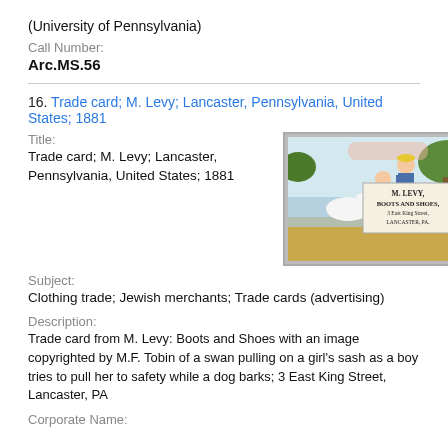(University of Pennsylvania)
Call Number:
Arc.MS.56
16. Trade card; M. Levy; Lancaster, Pennsylvania, United States; 1881
Title:
Trade card; M. Levy; Lancaster, Pennsylvania, United States; 1881
[Figure (photo): Trade card image showing M. Levy Boots and Shoes, 3 East King Street, Lancaster, PA. Illustration of a boy and girl near a swan, with a dog barking.]
Subject:
Clothing trade; Jewish merchants; Trade cards (advertising)
Description:
Trade card from M. Levy: Boots and Shoes with an image copyrighted by M.F. Tobin of a swan pulling on a girl's sash as a boy tries to pull her to safety while a dog barks; 3 East King Street, Lancaster, PA
Corporate Name: